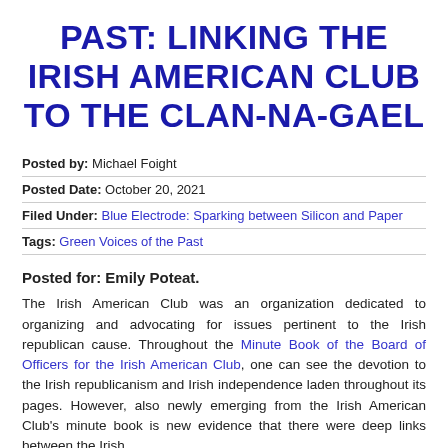PAST: LINKING THE IRISH AMERICAN CLUB TO THE CLAN-NA-GAEL
Posted by: Michael Foight
Posted Date: October 20, 2021
Filed Under: Blue Electrode: Sparking between Silicon and Paper
Tags: Green Voices of the Past
Posted for: Emily Poteat.
The Irish American Club was an organization dedicated to organizing and advocating for issues pertinent to the Irish republican cause. Throughout the Minute Book of the Board of Officers for the Irish American Club, one can see the devotion to the Irish republicanism and Irish independence laden throughout its pages. However, also newly emerging from the Irish American Club's minute book is new evidence that there were deep links between the Irish